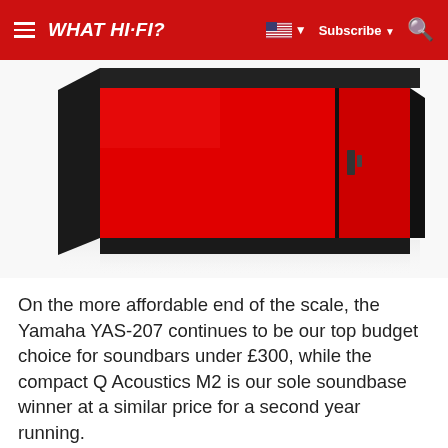WHAT HI-FI? Subscribe
[Figure (photo): A red and black soundbar (Q Acoustics M2 or similar product) photographed at an angle against a white background, showing the front and left side panels in vivid red with black trim.]
On the more affordable end of the scale, the Yamaha YAS-207 continues to be our top budget choice for soundbars under £300, while the compact Q Acoustics M2 is our sole soundbase winner at a similar price for a second year running.